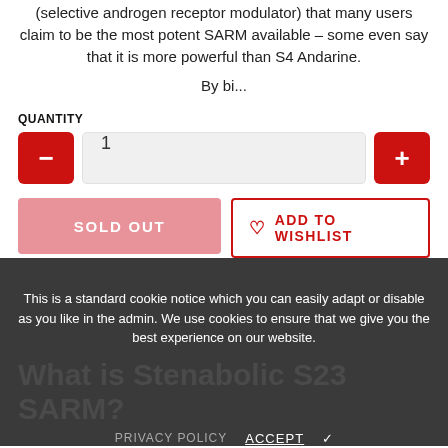(selective androgen receptor modulator) that many users claim to be the most potent SARM available – some even say that it is more powerful than S4 Andarine.
By bi...
QUANTITY
[Figure (screenshot): Quantity selector with minus button, input field showing 1, and plus button]
[Figure (screenshot): SOLD OUT button (pink) and ADD TO WISHLIST button (red outline with heart icon)]
This is a standard cookie notice which you can easily adapt or disable as you like in the admin. We use cookies to ensure that we give you the best experience on our website.
What is Stenabolic S23 SARM?
PRIVACY POLICY   ACCEPT ✓